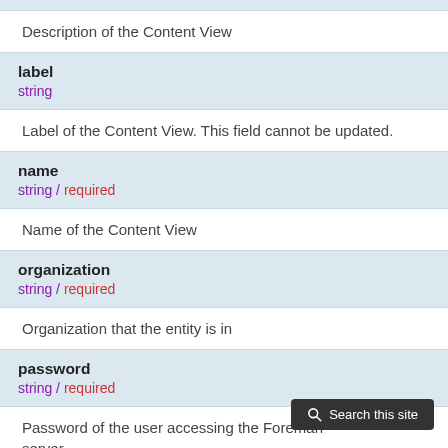Description of the Content View
label
string
Label of the Content View. This field cannot be updated.
name
string / required
Name of the Content View
organization
string / required
Organization that the entity is in
password
string / required
Password of the user accessing the Foreman server.
If the value is not specified in the task, the value